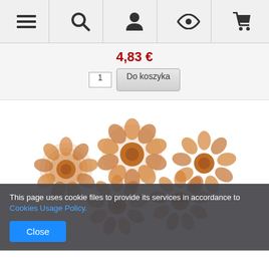[Figure (screenshot): Top navigation bar with menu (hamburger), search (magnifier), user (person icon), eye/wishlist icon, and cart icon on a light gray background]
4,83 €
1  Do koszyka
[Figure (photo): Five orange/brown sola belly flowers (dried flower decorations), approximately 3 cm each, arranged on a white background]
This page uses cookie files to provide its services in accordance to Cookies Usage Policy.
Close
Belly flowers SOLA, 3 cm, 48 pcs/pkg - brown